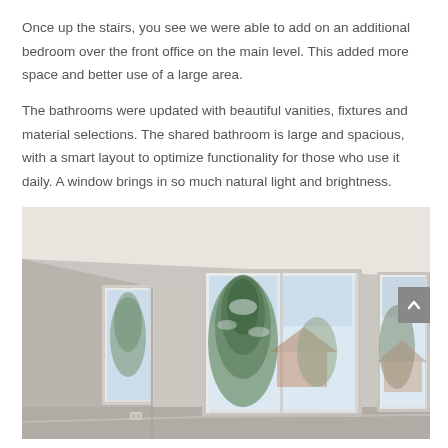Once up the stairs, you see we were able to add on an additional bedroom over the front office on the main level. This added more space and better use of a large area.
The bathrooms were updated with beautiful vanities, fixtures and material selections. The shared bathroom is large and spacious, with a smart layout to optimize functionality for those who use it daily. A window brings in so much natural light and brightness.
[Figure (photo): Interior photo of an empty room with light gray/beige walls and white trim, showing three windows. The left window is narrow and tall, the center window is large with a view of a snow-covered evergreen tree outside, and the right window shows bare winter trees and a neighboring house. Bright natural light fills the room.]